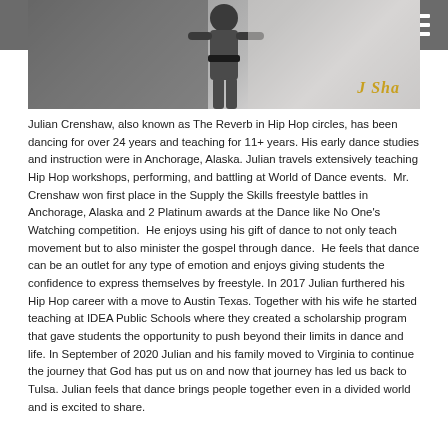Navigation menu
[Figure (photo): Photo of Julian Crenshaw (The Reverb) in a dance pose, wearing a white outfit with a black belt. A gold cursive signature reading 'J Sha' appears in the bottom right of the image. The background is a dark grey gradient.]
Julian Crenshaw, also known as The Reverb in Hip Hop circles, has been dancing for over 24 years and teaching for 11+ years. His early dance studies and instruction were in Anchorage, Alaska. Julian travels extensively teaching Hip Hop workshops, performing, and battling at World of Dance events.  Mr. Crenshaw won first place in the Supply the Skills freestyle battles in Anchorage, Alaska and 2 Platinum awards at the Dance like No One's Watching competition.  He enjoys using his gift of dance to not only teach movement but to also minister the gospel through dance.  He feels that dance can be an outlet for any type of emotion and enjoys giving students the confidence to express themselves by freestyle. In 2017 Julian furthered his Hip Hop career with a move to Austin Texas. Together with his wife he started teaching at IDEA Public Schools where they created a scholarship program that gave students the opportunity to push beyond their limits in dance and life. In September of 2020 Julian and his family moved to Virginia to continue the journey that God has put us on and now that journey has led us back to Tulsa. Julian feels that dance brings people together even in a divided world and is excited to share.